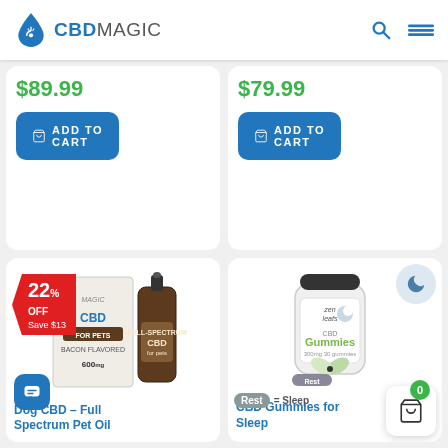CBD MAGIC
$89.99
ADD TO CART
$79.99
ADD TO CART
[Figure (photo): Dog CBD Full Spectrum Pet Oil bottle with box, 22% OFF sale badge, Save $13]
Dog CBD – Full Spectrum Pet Oil
[Figure (photo): CBD Gummies for Sleep bottle from Zen Leafs, Rest = Sleep label, sleep moon badge]
CBD Gummies for Sleep